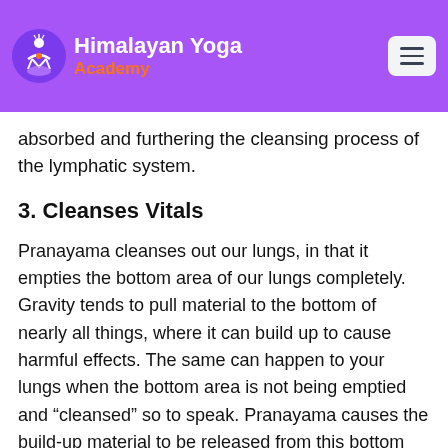Himalayan Yoga Academy
absorbed and furthering the cleansing process of the lymphatic system.
3. Cleanses Vitals
Pranayama cleanses out our lungs, in that it empties the bottom area of our lungs completely. Gravity tends to pull material to the bottom of nearly all things, where it can build up to cause harmful effects. The same can happen to your lungs when the bottom area is not being emptied and “cleansed” so to speak. Pranayama causes the build-up material to be released from this bottom area of our vitals e.g. brain, lungs, heart, liver and kidneys filling it with fresh nutrients and pranas to enhance the functions of your vitals overall.